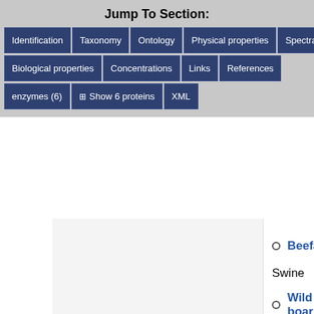Jump To Section:
Identification
Taxonomy
Ontology
Physical properties
Spectra
Biological properties
Concentrations
Links
References
enzymes (6)
Show 6 proteins
XML
Beefalo
Swine
Wild boar
Domestic
Poultry
Chicken
Mallard du
Emu
Greylag g
Guinea he
Ostrich
Velvet duc
Pheasant